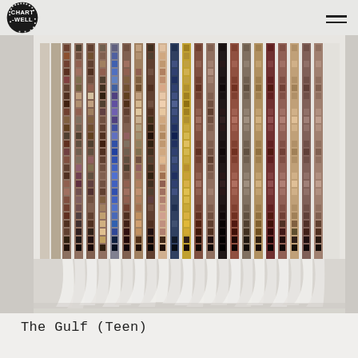Chartwell
[Figure (photo): A large grid artwork composed of hundreds of small photographic slides or film negatives arranged in vertical columns, showing various images. The strips curve and curl at the bottom, casting shadows on a white surface. The work appears to be 'The Gulf (Teen)'.]
The Gulf (Teen)